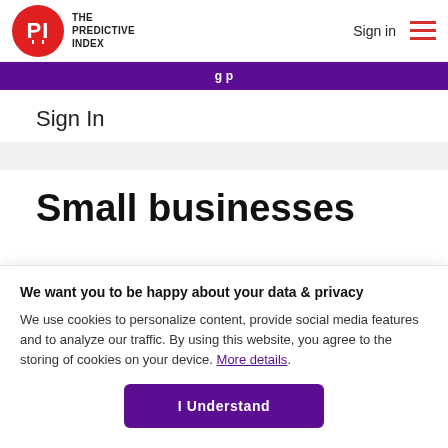THE PREDICTIVE INDEX — Sign in
[Figure (logo): The Predictive Index logo — red circle with white PI letters and text 'THE PREDICTIVE INDEX' beside it]
Sign In
Small businesses
We want you to be happy about your data & privacy
We use cookies to personalize content, provide social media features and to analyze our traffic. By using this website, you agree to the storing of cookies on your device. More details.
I Understand